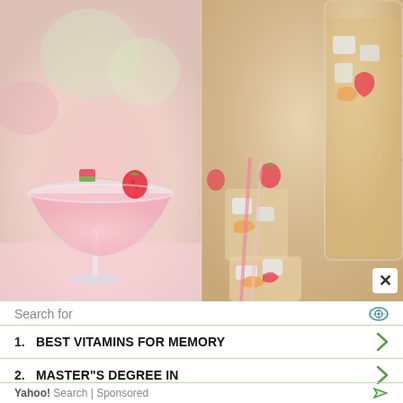[Figure (photo): Two-panel food/drink photo: left side shows a pink cocktail in a coupe glass garnished with strawberry and watermelon candy on a pick; right side shows iced peach/strawberry drinks in glasses with a large pitcher.]
Search for
1. BEST VITAMINS FOR MEMORY
2. MASTER"S DEGREE IN
Yahoo! Search | Sponsored